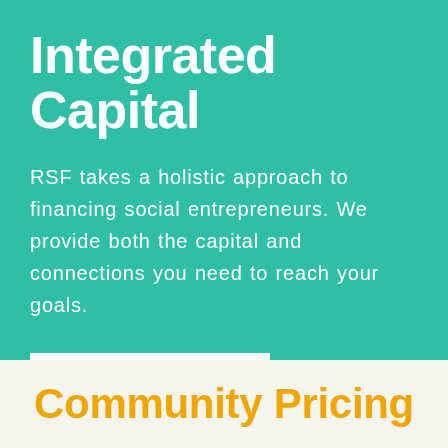Integrated Capital
RSF takes a holistic approach to financing social entrepreneurs. We provide both the capital and connections you need to reach your goals.
LEARN MORE
Community Pricing